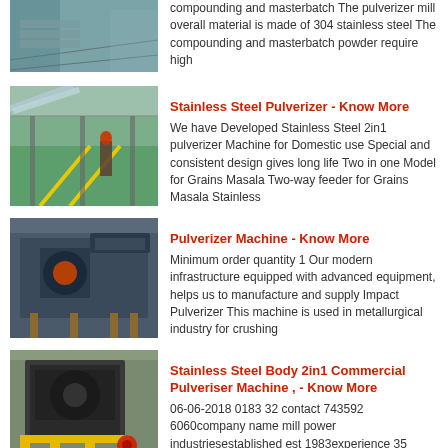[Figure (photo): Industrial machinery plant interior with steel floor panels]
compounding and masterbatch The pulverizer mill overall material is made of 304 stainless steel The compounding and masterbatch powder require high
Stainless Steel Pulverizer - Know More
[Figure (photo): Workers on factory floor with large metal sheets and yellow lines]
We have Developed Stainless Steel 2in1 pulverizer Machine for Domestic use Special and consistent design gives long life Two in one Model for Grains Masala Two-way feeder for Grains Masala Stainless
Pulverizer Machine - Know More
[Figure (photo): Large industrial pulverizer machine in a facility]
Minimum order quantity 1 Our modern infrastructure equipped with advanced equipment, helps us to manufacture and supply Impact Pulverizer This machine is used in metallurgical industry for crushing
Stainless Steel Body 2in1 Commercial Pulveriser Machine , - Know More
[Figure (photo): Heavy industrial pulverizer machine with yellow support structure]
06-06-2018 0183 32 contact 743592 6060company name mill power industriesestablished est 1983experience 35 years of trust mfg products flour mills, pulverisers food....